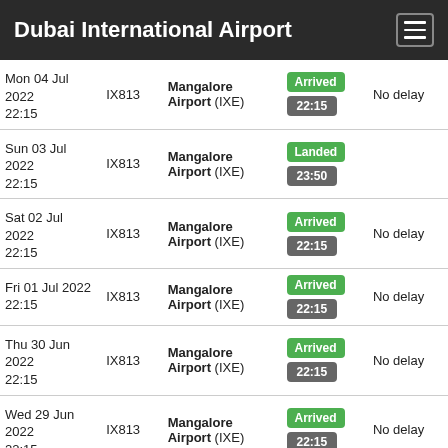Dubai International Airport
| Date | Flight | Destination | Status | Delay |
| --- | --- | --- | --- | --- |
| Mon 04 Jul 2022 22:15 | IX813 | Mangalore Airport (IXE) | Arrived 22:15 | No delay |
| Sun 03 Jul 2022 22:15 | IX813 | Mangalore Airport (IXE) | Landed 23:50 |  |
| Sat 02 Jul 2022 22:15 | IX813 | Mangalore Airport (IXE) | Arrived 22:15 | No delay |
| Fri 01 Jul 2022 22:15 | IX813 | Mangalore Airport (IXE) | Arrived 22:15 | No delay |
| Thu 30 Jun 2022 22:15 | IX813 | Mangalore Airport (IXE) | Arrived 22:15 | No delay |
| Wed 29 Jun 2022 22:15 | IX813 | Mangalore Airport (IXE) | Arrived 22:15 | No delay |
| Tue 28 Jun 2022 | IX813 | Mangalore Airport (IXE) | Delayed 01:20 |  |